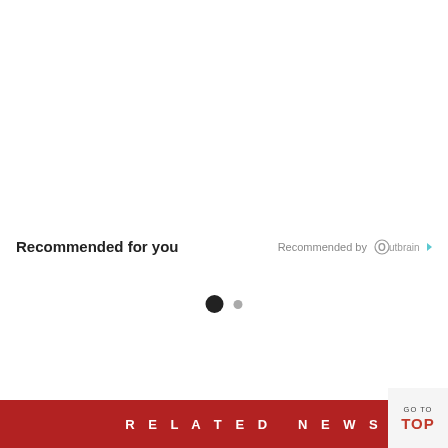Recommended for you
Recommended by Outbrain
[Figure (other): Pagination dots: one large filled black circle and one smaller gray circle]
RELATED NEWS
GO TO TOP